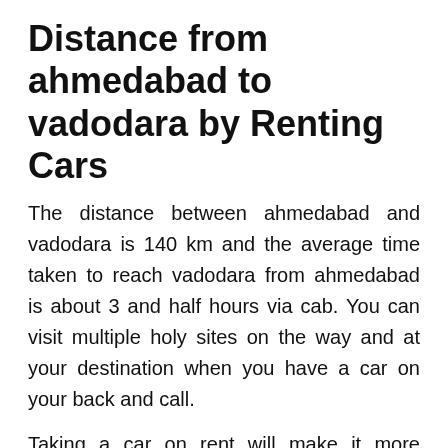Distance from ahmedabad to vadodara by Renting Cars
The distance between ahmedabad and vadodara is 140 km and the average time taken to reach vadodara from ahmedabad is about 3 and half hours via cab. You can visit multiple holy sites on the way and at your destination when you have a car on your back and call.
Taking a car on rent will make it more convenient to visit popular sights in vadodara, including the Aga Khan Palace, Saras Garden, National War Museum, Osho Ashram, Tulsi Baug and many more.
ahmedabad to vadodara Car Rental Option